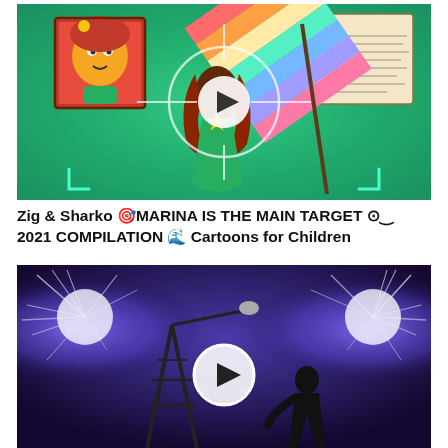[Figure (screenshot): Animated cartoon thumbnail showing a mermaid character (Marina) from Zig & Sharko in a green scene with a rainbow-striped flag, crosshair targeting reticle overlay, a framed portrait of the character on the left, and a handwritten note on the upper right. White play button in center.]
Zig & Sharko 🎯MARINA IS THE MAIN TARGET ⊙‿ 2021 COMPILATION 🌊 Cartoons for Children
[Figure (screenshot): Dark blue/purple toned photo thumbnail showing silhouettes of structures (wind turbine or tower) with bright sparkling light bursts on left and right sides, a human figure silhouette in center-right area, and a white play button in the center.]